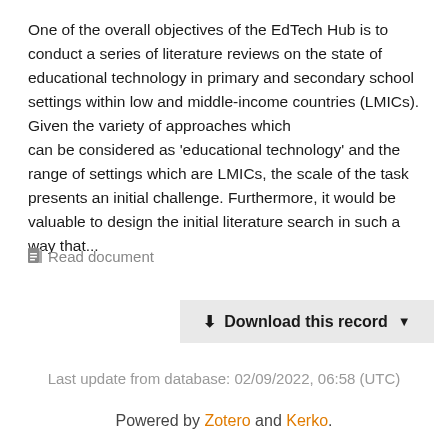One of the overall objectives of the EdTech Hub is to conduct a series of literature reviews on the state of educational technology in primary and secondary school settings within low and middle-income countries (LMICs). Given the variety of approaches which can be considered as 'educational technology' and the range of settings which are LMICs, the scale of the task presents an initial challenge. Furthermore, it would be valuable to design the initial literature search in such a way that...
Read document
Download this record
Last update from database: 02/09/2022, 06:58 (UTC)
Powered by Zotero and Kerko.